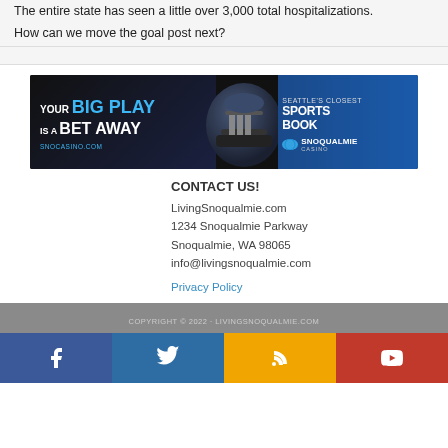The entire state has seen a little over 3,000 total hospitalizations.
How can we move the goal post next?
[Figure (photo): Snoqualmie Casino advertisement banner: 'YOUR BIG PLAY IS A BET AWAY' with football player in helmet, 'SEATTLE'S CLOSEST SPORTSBOOK' with Snoqualmie Casino logo, SNOCASINO.COM]
CONTACT US!
LivingSnoqualmie.com
1234 Snoqualmie Parkway
Snoqualmie, WA 98065
info@livingsnoqualmie.com
Privacy Policy
COPYRIGHT © 2022 · LIVINGSNOQUALMIE.COM
[Figure (infographic): Social media bar with Facebook, Twitter, RSS, and YouTube icons]